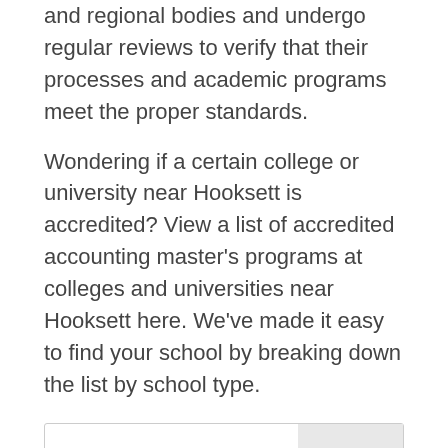and regional bodies and undergo regular reviews to verify that their processes and academic programs meet the proper standards.
Wondering if a certain college or university near Hooksett is accredited? View a list of accredited accounting master's programs at colleges and universities near Hooksett here. We've made it easy to find your school by breaking down the list by school type.
Accredited Nonprofit Graduate Schools Near Hooksett, New Hampshire
Find More Colleges with